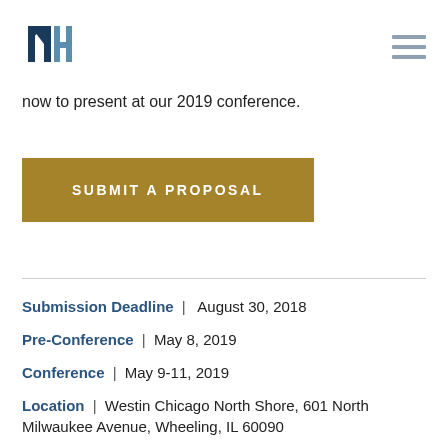MH logo and navigation menu
now to present at our 2019 conference.
[Figure (other): Gold/dark-yellow rectangular button with text 'SUBMIT A PROPOSAL' in white uppercase letters]
Submission Deadline |  August 30, 2018
Pre-Conference | May 8, 2019
Conference | May 9-11, 2019
Location | Westin Chicago North Shore, 601 North Milwaukee Avenue, Wheeling, IL 60090